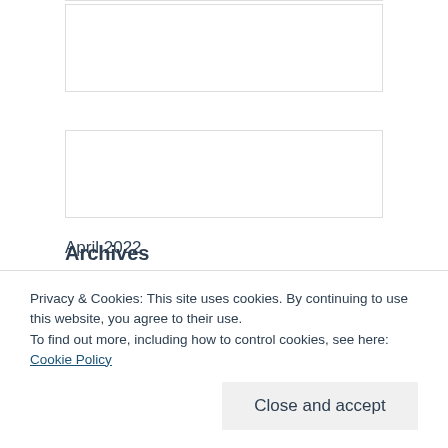[Figure (other): Empty white box with thin border (form field or image placeholder)]
[Figure (other): Empty white box with thin border (form field or image placeholder)]
Archives
August 2022
April 2022
Privacy & Cookies: This site uses cookies. By continuing to use this website, you agree to their use.
To find out more, including how to control cookies, see here: Cookie Policy
Close and accept